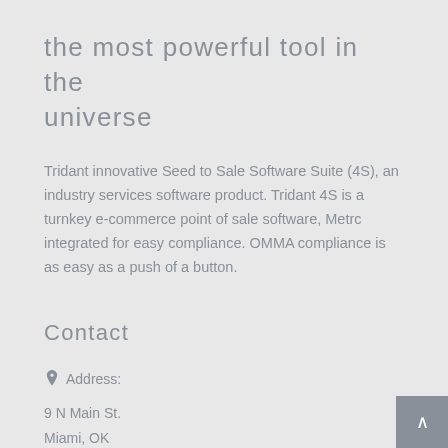the most powerful tool in the universe
Tridant innovative Seed to Sale Software Suite (4S), an industry services software product. Tridant 4S is a turnkey e-commerce point of sale software, Metrc integrated for easy compliance. OMMA compliance is as easy as a push of a button.
Contact
Address:
9 N Main St.
Miami, OK